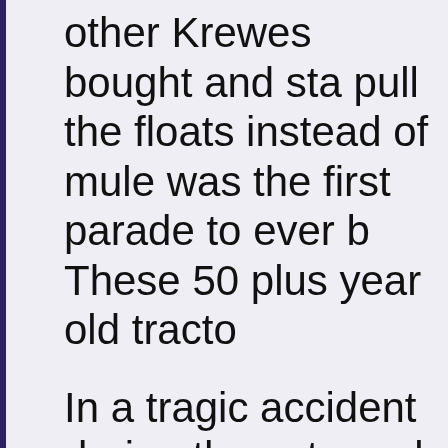other Krewes bought and sta pull the floats instead of mule was the first parade to ever b These 50 plus year old tracto
In a tragic accident during the extremely high gust of wind t the Jefferson Davis Parkway krewe member to fall from th overpass and receive injuries Coupled With that and other accident, all float riders in all